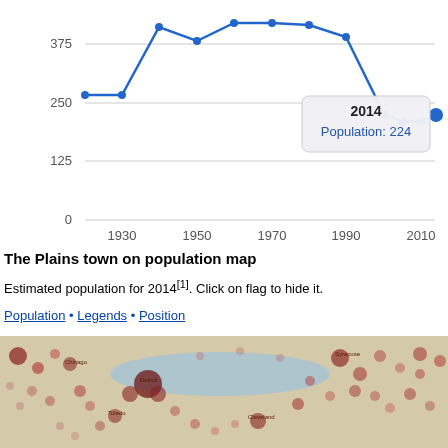[Figure (line-chart): Population over time]
The Plains town on population map
Estimated population for 2014[1]. Click on flag to hide it.
Population • Legends • Position
[Figure (map): Population map showing The Plains area with dot density overlay, Great Lakes region visible]